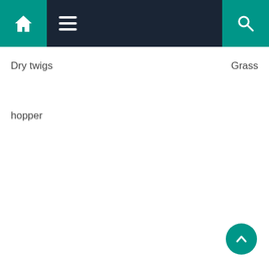[Figure (screenshot): Navigation bar with teal home icon on left, dark navy background with hamburger menu icon, teal search icon on right]
Dry twigs
Grass
hopper
[Figure (other): Teal circular scroll-to-top button with upward chevron arrow]